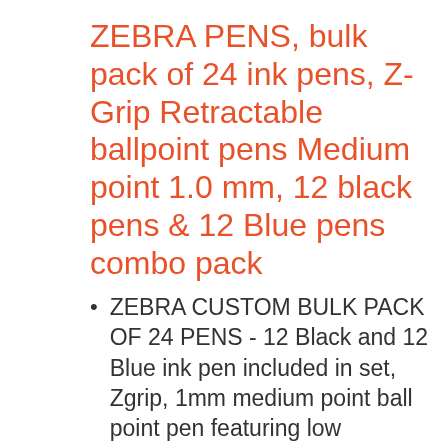ZEBRA PENS, bulk pack of 24 ink pens, Z-Grip Retractable ballpoint pens Medium point 1.0 mm, 12 black pens & 12 Blue pens combo pack
ZEBRA CUSTOM BULK PACK OF 24 PENS - 12 Black and 12 Blue ink pen included in set, Zgrip, 1mm medium point ball point pen featuring low viscosity for a smooth, skip-less writing experience and